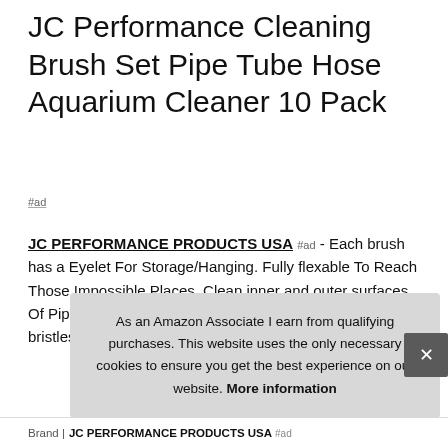JC Performance Cleaning Brush Set Pipe Tube Hose Aquarium Cleaner 10 Pack
#ad
JC PERFORMANCE PRODUCTS USA #ad - Each brush has a Eyelet For Storage/Hanging. Fully flexable To Reach Those Impossible Places. Clean inner and outer surfaces Of Pipes, Tubes, Hoses, Or Any Tight Spot!. Sturdy nylon bristles With Zinc Plated Twisted Wire Handles For Grip.
As an Amazon Associate I earn from qualifying purchases. This website uses the only necessary cookies to ensure you get the best experience on our website. More information
Brand | JC PERFORMANCE PRODUCTS USA #ad